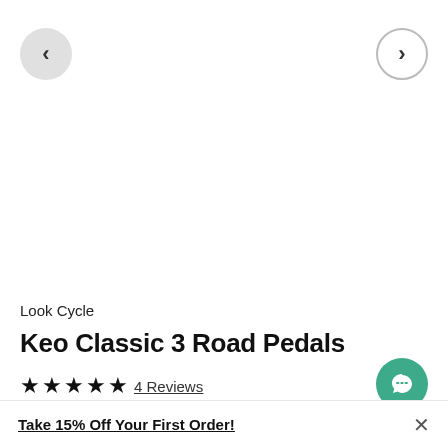[Figure (screenshot): Left navigation arrow button (chevron left) in a light grey filled circle]
[Figure (screenshot): Right navigation arrow button (chevron right) in a white circle with grey border]
Look Cycle
Keo Classic 3 Road Pedals
★★★★★ 4 Reviews
[Figure (illustration): Green circle chat/message bubble button]
Take 15% Off Your First Order!
×